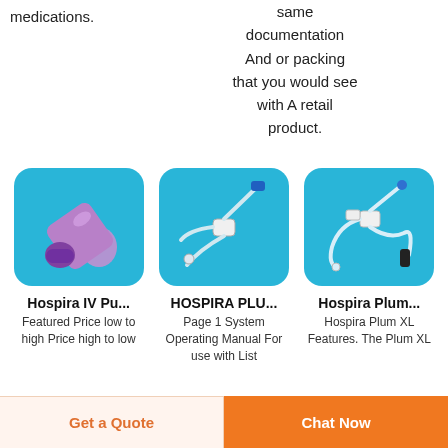medications.
same documentation And or packing that you would see with A retail product.
[Figure (photo): Hospira IV push syringe/tube with purple cap on blue background]
[Figure (photo): HOSPIRA PLU IV tubing set with connector on blue background]
[Figure (photo): Hospira Plum XL IV administration set with clamp on blue background]
Hospira IV Pu...
HOSPIRA PLU...
Hospira Plum...
Featured Price low to high Price high to low
Page 1 System Operating Manual For use with List
Hospira Plum XL Features. The Plum XL
Get a Quote
Chat Now